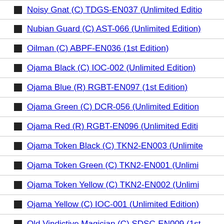Noisy Gnat (C) TDGS-EN037 (Unlimited Edition)
Nubian Guard (C) AST-066 (Unlimited Edition)
Oilman (C) ABPF-EN036 (1st Edition)
Ojama Black (C) IOC-002 (Unlimited Edition)
Ojama Blue (R) RGBT-EN097 (1st Edition)
Ojama Green (C) DCR-056 (Unlimited Edition)
Ojama Red (R) RGBT-EN096 (Unlimited Edition)
Ojama Token Black (C) TKN2-EN003 (Unlimited Edition)
Ojama Token Green (C) TKN2-EN001 (Unlimited Edition)
Ojama Token Yellow (C) TKN2-EN002 (Unlimited Edition)
Ojama Yellow (C) IOC-001 (Unlimited Edition)
Old Vindictive Magician (C) SDSC-EN009 (1st Edition)